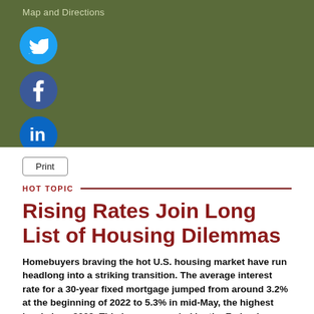Map and Directions
[Figure (illustration): Three social media icons stacked vertically: Twitter (light blue circle), Facebook (dark blue circle), LinkedIn (blue circle), on an olive/dark green background]
Print
HOT TOPIC
Rising Rates Join Long List of Housing Dilemmas
Homebuyers braving the hot U.S. housing market have run headlong into a striking transition. The average interest rate for a 30-year fixed mortgage jumped from around 3.2% at the beginning of 2022 to 5.3% in mid-May, the highest level since 2009. This is accompanied by the Federal Reserve...